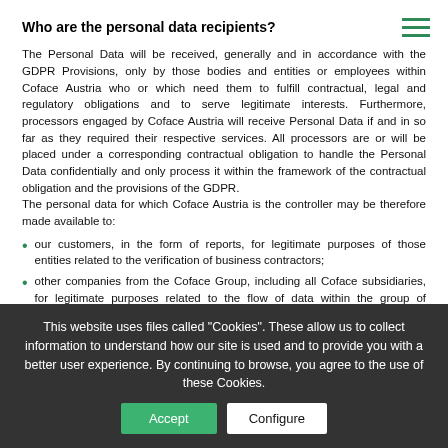Who are the personal data recipients?
The Personal Data will be received, generally and in accordance with the GDPR Provisions, only by those bodies and entities or employees within Coface Austria who or which need them to fulfill contractual, legal and regulatory obligations and to serve legitimate interests. Furthermore, processors engaged by Coface Austria will receive Personal Data if and in so far as they required their respective services. All processors are or will be placed under a corresponding contractual obligation to handle the Personal Data confidentially and only process it within the framework of the contractual obligation and the provisions of the GDPR.
The personal data for which Coface Austria is the controller may be therefore made available to:
our customers, in the form of reports, for legitimate purposes of those entities related to the verification of business contractors;
other companies from the Coface Group, including all Coface subsidiaries, for legitimate purposes related to the flow of data within the group of individuals representing companies and other business enterprises.
Public Bodies and various institutions...
This website uses files called "Cookies". These allow us to collect information to understand how our site is used and to provide you with a better user experience. By continuing to browse, you agree to the use of these Cookies.